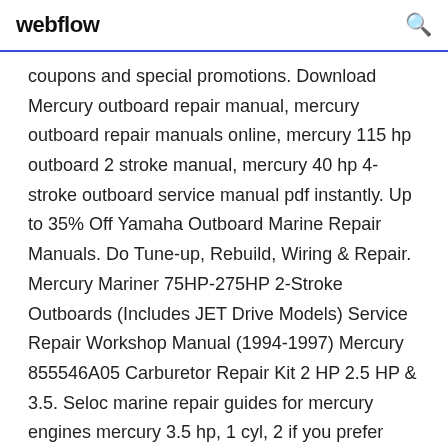webflow
coupons and special promotions. Download Mercury outboard repair manual, mercury outboard repair manuals online, mercury 115 hp outboard 2 stroke manual, mercury 40 hp 4-stroke outboard service manual pdf instantly. Up to 35% Off Yamaha Outboard Marine Repair Manuals. Do Tune-up, Rebuild, Wiring & Repair. Mercury Mariner 75HP-275HP 2-Stroke Outboards (Includes JET Drive Models) Service Repair Workshop Manual (1994-1997) Mercury 855546A05 Carburetor Repair Kit 2 HP 2.5 HP & 3.5. Seloc marine repair guides for mercury engines mercury 3.5 hp, 1 cyl, 2 if you prefer traditional service manuals seloc also offers a full line of, buy products related to mercury...